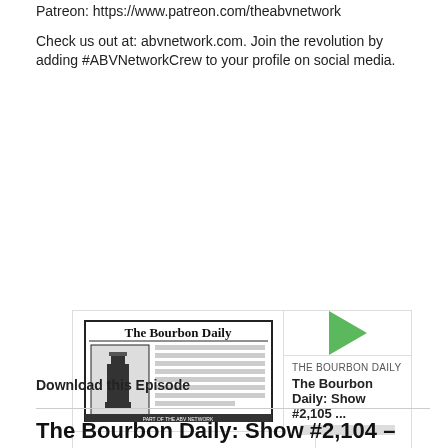Patreon: https://www.patreon.com/theabvnetwork
Check us out at: abvnetwork.com. Join the revolution by adding #ABVNetworkCrew to your profile on social media.
[Figure (screenshot): Podcast player widget for The Bourbon Daily: Show #2,105 with play button, skip controls, timestamp 00:00:00, and media icons]
Download this Episode
The Bourbon Daily: Show #2,104 – The Bou...
Jul 12, 2022
Miss Beka Sue, McNew, Turner and Tim talk to Susie about her bourbon journey. TBD music is by Kevin MacLeod (incompetech.com).
Important Links:
ABV Barrel Shop: abvbarrelshop.com
Steve Akley's New Book, Bourbon Assignments: https://amzn.to/2Y68Eoy
ABV Network Shop: https://shop.abvnetwork.com/